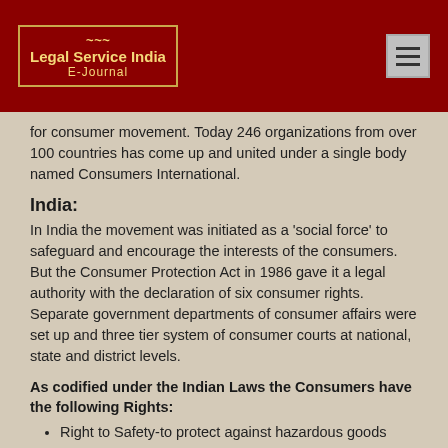Legal Service India E-Journal
for consumer movement. Today 246 organizations from over 100 countries has come up and united under a single body named Consumers International.
India:
In India the movement was initiated as a 'social force' to safeguard and encourage the interests of the consumers. But the Consumer Protection Act in 1986 gave it a legal authority with the declaration of six consumer rights. Separate government departments of consumer affairs were set up and three tier system of consumer courts at national, state and district levels.
As codified under the Indian Laws the Consumers have the following Rights:
Right to Safety-to protect against hazardous goods
Right to be Informed-about price, quality, purity
Right to choose-access to a variety of goods and services at competitive prices.
Right to be Heard-to represent oneself